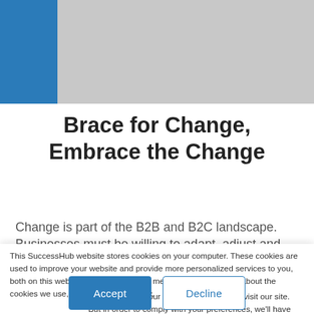[Figure (other): Grey header banner with blue accent block on left side]
Brace for Change, Embrace the Change
Change is part of the B2B and B2C landscape. Businesses must be willing to adapt, adjust and
This SuccessHub website stores cookies on your computer. These cookies are used to improve your website and provide more personalized services to you, both on this website and through other media. To find out more about the cookies we use, see our Privacy Policy.
We won't track your information when you visit our site. But in order to comply with your preferences, we'll have to use just one tiny cookie so that you're not asked to make this choice again.
Accept | Decline